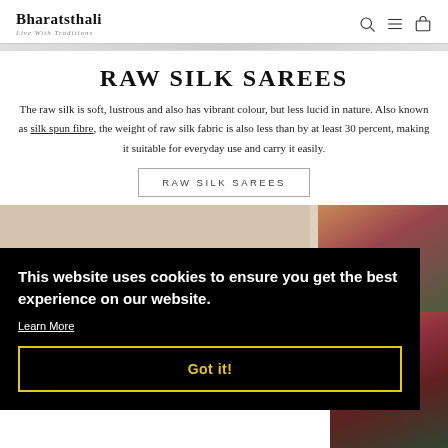Bharatsthali — Live With Traditions
RAW SILK SAREES
The raw silk is soft, lustrous and also has vibrant colour, but less lucid in nature. Also known as silk spun fibre, the weight of raw silk fabric is also less than by at least 30 percent, making it suitable for everyday use and carry it easily.
RAW SILK SAREES
[Figure (photo): Photo of woman wearing colorful silk sarees in red and yellow, outdoors with greenery]
This website uses cookies to ensure you get the best experience on our website. Learn More Got it!